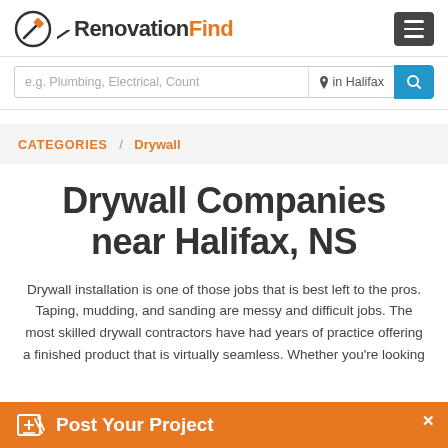RenovationFind
e.g. Plumbing, Electrical, Count  ⊙ in Halifax
CATEGORIES / Drywall
Drywall Companies near Halifax, NS
Drywall installation is one of those jobs that is best left to the pros. Taping, mudding, and sanding are messy and difficult jobs. The most skilled drywall contractors have had years of practice offering a finished product that is virtually seamless. Whether you're looking
Post Your Project